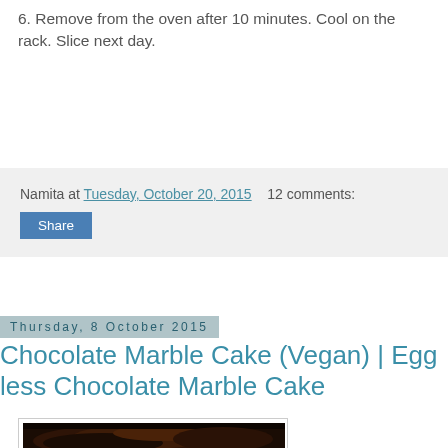6. Remove from the oven after 10 minutes. Cool on the rack. Slice next day.
Namita at Tuesday, October 20, 2015   12 comments:
Share
Thursday, 8 October 2015
Chocolate Marble Cake (Vegan) | Egg less Chocolate Marble Cake
[Figure (photo): Photo of a chocolate marble cake, dark brown, sliced, on a white plate with green background]